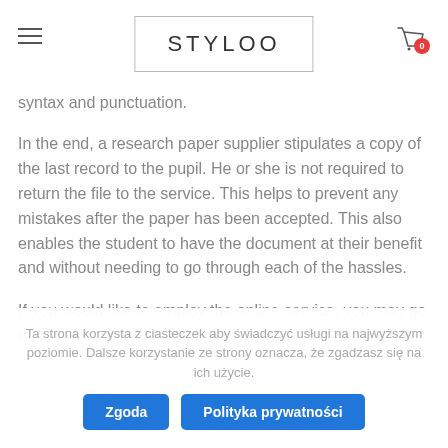STYLOO
syntax and punctuation.
In the end, a research paper supplier stipulates a copy of the last record to the pupil. He or she is not required to return the file to the service. This helps to prevent any mistakes after the paper has been accepted. This also enables the student to have the document at their benefit and without needing to go through each of the hassles.
If you would like to employ the online service, you may go to their website. They also have various different websites
Ta strona korzysta z ciasteczek aby świadczyć usługi na najwyższym poziomie. Dalsze korzystanie ze strony oznacza, że zgadzasz się na ich użycie.
Zgoda | Polityka prywatności